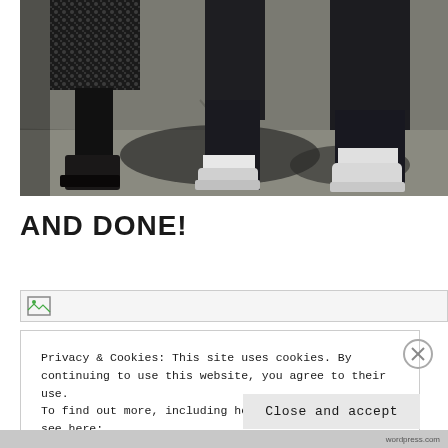[Figure (photo): Street-level photo showing two people walking on a sidewalk, viewed from waist down. One person wears a sparkly/sequined skirt and dark boots, the other wears dark jeans and white sneakers. Dramatic shadows on concrete pavement.]
AND DONE!
[Figure (other): Broken image placeholder icon]
Privacy & Cookies: This site uses cookies. By continuing to use this website, you agree to their use.
To find out more, including how to control cookies, see here:
Cookie Policy
Close and accept